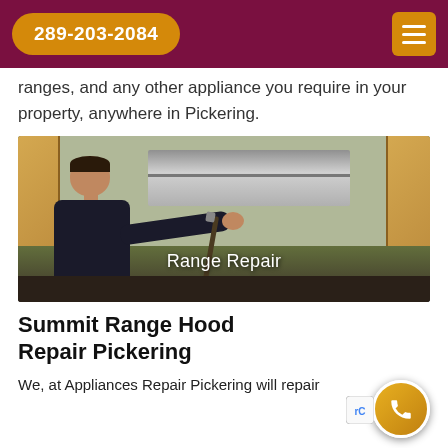289-203-2084
ranges, and any other appliance you require in your property, anywhere in Pickering.
[Figure (photo): A technician in a dark shirt installing or repairing a stainless steel range hood in a kitchen with light wood cabinets. Text overlay reads 'Range Repair'.]
Summit Range Hood Repair Pickering
We, at Appliances Repair Pickering will repair